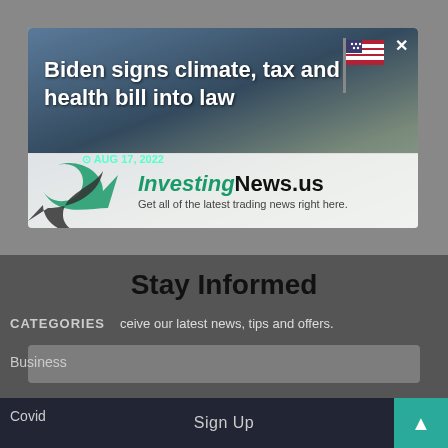[Figure (screenshot): News article card/modal overlay showing 'Biden signs climate, tax and health bill into law' with date AUG 17, 2022, overlaid on a background page. Below is a dark gray section with 'Stay Informed' newsletter signup, CATEGORIES label, Business and Covid list items, and a Sign Up button with teal arrow.]
Biden signs climate, tax and health bill into law
AUG 17, 2022
InvestingNews.us
Get all of the latest trading news right here.
Stay Informed
CATEGORIES
ceive our latest news, tips and offers.
Business
Covid
Sign Up